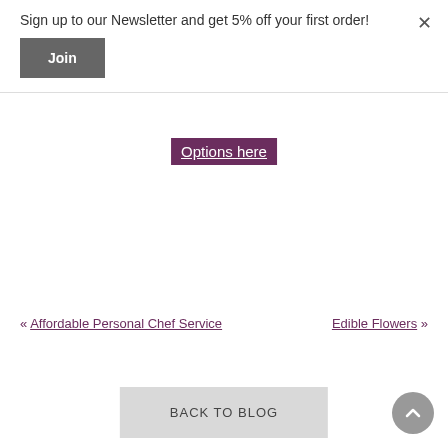Sign up to our Newsletter and get 5% off your first order!
Join
×
Options here
« Affordable Personal Chef Service
Edible Flowers »
BACK TO BLOG